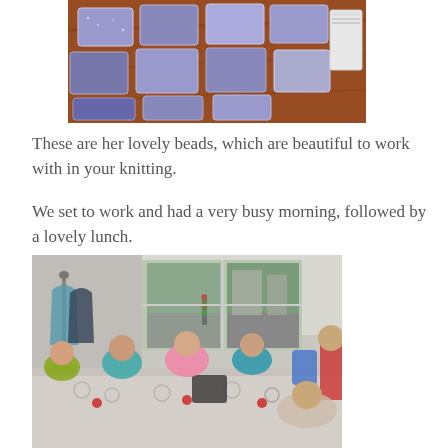[Figure (photo): Overhead view of multiple small plastic ziplock bags containing blue/purple seed beads laid out on a wooden table surface.]
These are her lovely beads, which are beautiful to work with in your knitting.
We set to work and had a very busy morning, followed by a lovely lunch.
[Figure (photo): Group of women sitting around a table having lunch in a room with large windows looking out onto a street. Several women are wearing colourful cardigans (teal, pink, yellow-green) and appear to be working on crafts or eating. A table is set with glasses, plates and small red decorations.]